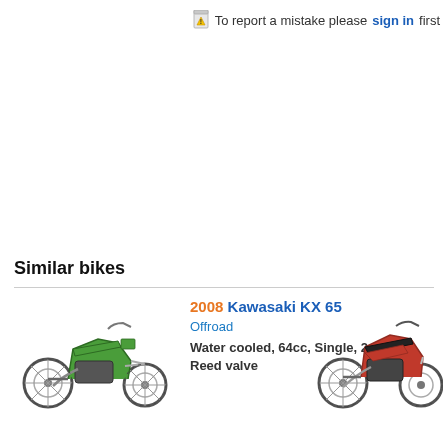To report a mistake please sign in first
Similar bikes
[Figure (photo): Green Kawasaki KX 65 dirt bike, side view]
2008 Kawasaki KX 65
Offroad
Water cooled, 64cc, Single, 2-stroke, Reed valve
[Figure (photo): Red/black dirt bike, side view, partially visible at right edge]